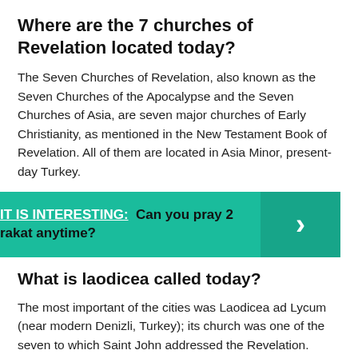Where are the 7 churches of Revelation located today?
The Seven Churches of Revelation, also known as the Seven Churches of the Apocalypse and the Seven Churches of Asia, are seven major churches of Early Christianity, as mentioned in the New Testament Book of Revelation. All of them are located in Asia Minor, present-day Turkey.
[Figure (infographic): Teal banner with text: IT IS INTERESTING: Can you pray 2 rakat anytime? with a chevron arrow on the right side.]
What is laodicea called today?
The most important of the cities was Laodicea ad Lycum (near modern Denizli, Turkey); its church was one of the seven to which Saint John addressed the Revelation. Laodicea ad Mare (modern Latakia, Syria) was a major seaport. By signing up, you agree to our Privacy Notice.